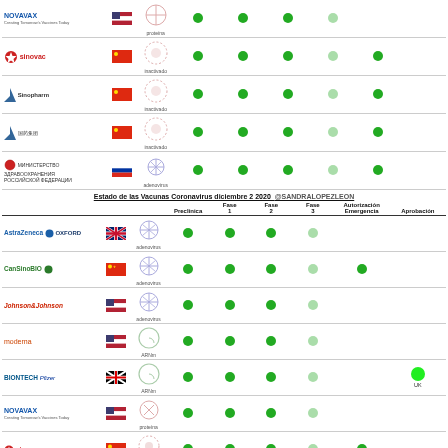[Figure (table-as-image): Top partial view of vaccine status table showing Novavax, Sinovac, Sinopharm, unnamed Chinese company, Russian Ministry of Health, and Bharat rows with colored dots for Preclínica, Fase 1, Fase 2, Fase 3, Autorización Emergencia, Aprobación columns]
Estado de las Vacunas Coronavirus diciembre 2 2020 @SANDRALOPEZLEON
| Empresa | País | Tipo | Preclínica | Fase 1 | Fase 2 | Fase 3 | Autorización Emergencia | Aprobación |
| --- | --- | --- | --- | --- | --- | --- | --- | --- |
| AstraZeneca / OXFORD | UK | adenovirus | ● | ● | ● | ◌ |  |  |
| CanSinoBIO | China | adenovirus | ● | ● | ● | ◌ | ● |  |
| Johnson&Johnson | USA | adenovirus | ● | ● | ● | ◌ |  |  |
| moderna | USA | ARNm | ● | ● | ● | ◌ |  |  |
| BIONTECH / Pfizer | Germany | ARNm | ● | ● | ● | ◌ |  | ● UK |
| NOVAVAX | USA | proteína | ● | ● | ● | ◌ |  |  |
| Sinovac | China | inactivado | ● | ● | ● | ◌ | ● |  |
| Sinopharm | China | inactivado | ● | ● | ● | ◌ | ● |  |
| (unnamed) | China | inactivado | ● | ● | ● | ◌ | ● |  |
| Ministerstvo Zdravookhraneniya | Russia | adenovirus | ● | ● | ● | ◌ | ● |  |